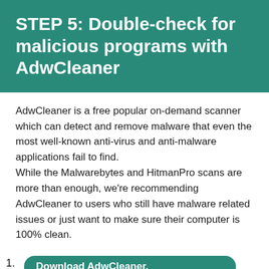STEP 5: Double-check for malicious programs with AdwCleaner
AdwCleaner is a free popular on-demand scanner which can detect and remove malware that even the most well-known anti-virus and anti-malware applications fail to find. While the Malwarebytes and HitmanPro scans are more than enough, we're recommending AdwCleaner to users who still have malware related issues or just want to make sure their computer is 100% clean.
Download AdwCleaner. You can download AdwCleaner by clicking the